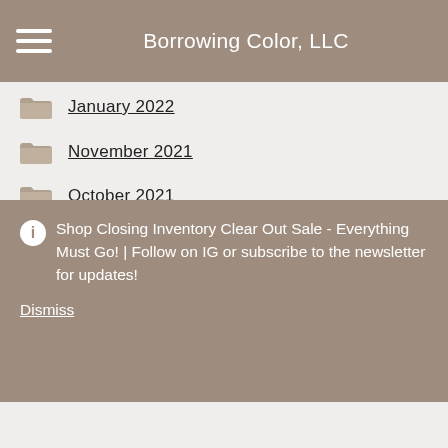Borrowing Color, LLC
January 2022
November 2021
October 2021
July 2021
April 2021
Shop Closing Inventory Clear Out Sale - Everything Must Go! | Follow on IG or subscribe to the newsletter for updates!
Dismiss